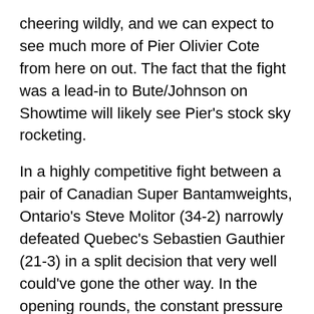cheering wildly, and we can expect to see much more of Pier Olivier Cote from here on out. The fact that the fight was a lead-in to Bute/Johnson on Showtime will likely see Pier's stock sky rocketing.
In a highly competitive fight between a pair of Canadian Super Bantamweights, Ontario's Steve Molitor (34-2) narrowly defeated Quebec's Sebastien Gauthier (21-3) in a split decision that very well could've gone the other way. In the opening rounds, the constant pressure and activity rate of Gauthier won him rounds, in the later rounds...that same work rate was matched by the precision punching of Molitor who fought with blood running down his face for most of the fight. Gauthier was briefly hurt by Molitor in the 5th, but the determination of Gauthier kept him battling through. A pair of slips could very have well be called knockdowns for both